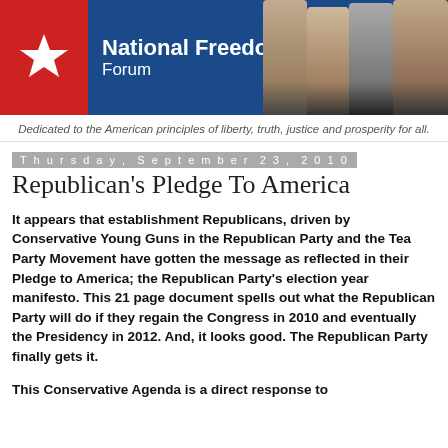[Figure (logo): National Freedom Forum banner with red and blue background, white star, site title text, and historical portrait photos of founding fathers and Reagan]
Dedicated to the American principles of liberty, truth, justice and prosperity for all.
Thursday, September 23, 2010
Republican's Pledge To America
It appears that establishment Republicans, driven by Conservative Young Guns in the Republican Party and the Tea Party Movement have gotten the message as reflected in their Pledge to America; the Republican Party's election year manifesto. This 21 page document spells out what the Republican Party will do if they regain the Congress in 2010 and eventually the Presidency in 2012. And, it looks good. The Republican Party finally gets it.
This Conservative Agenda is a direct response to